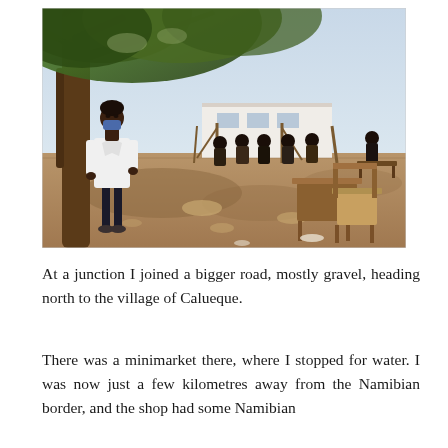[Figure (photo): Outdoor scene under a large tree with dappled shade on sandy ground. A person wearing a white coat and blue face mask stands to the left near the tree trunk. In the background, several people sit on benches under a makeshift shade structure with a white building visible behind them. A wooden school desk and chair are visible in the foreground right. The sky is bright and clear.]
At a junction I joined a bigger road, mostly gravel, heading north to the village of Calueque.
There was a minimarket there, where I stopped for water. I was now just a few kilometres away from the Namibian border, and the shop had some Namibian